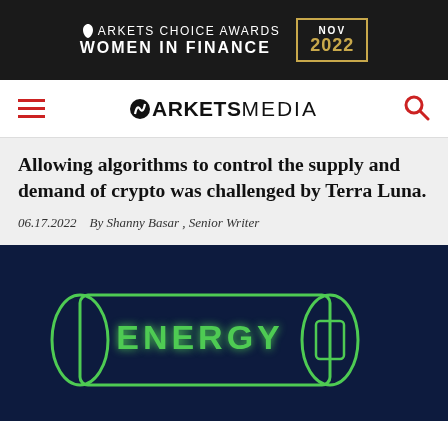[Figure (logo): Markets Choice Awards Women in Finance NOV 2022 banner advertisement on black background with gold border box]
MARKETS MEDIA navigation bar with hamburger menu and search icon
Allowing algorithms to control the supply and demand of crypto was challenged by Terra Luna.
06.17.2022   By Shanny Basar , Senior Writer
[Figure (photo): Dark navy blue background with a chalk-drawn cylinder/battery labeled ENERGY in green chalk lettering]